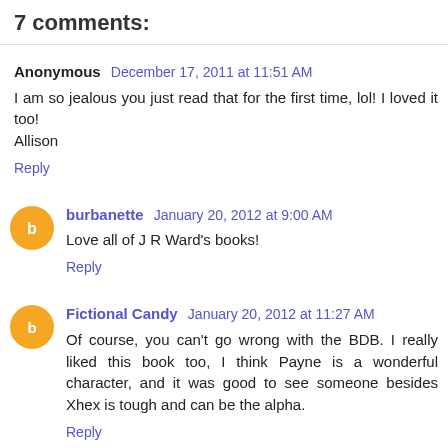7 comments:
Anonymous December 17, 2011 at 11:51 AM
I am so jealous you just read that for the first time, lol! I loved it too!
Allison
Reply
burbanette January 20, 2012 at 9:00 AM
Love all of J R Ward's books!
Reply
Fictional Candy January 20, 2012 at 11:27 AM
Of course, you can't go wrong with the BDB. I really liked this book too, I think Payne is a wonderful character, and it was good to see someone besides Xhex is tough and can be the alpha.
Reply